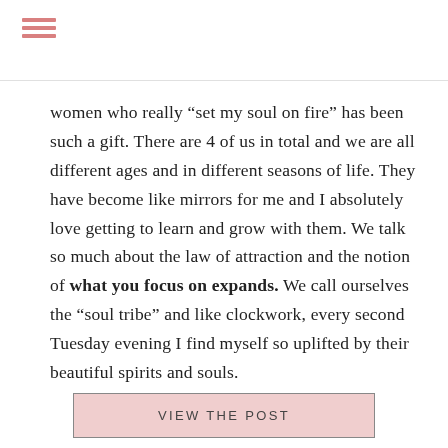women who really “set my soul on fire” has been such a gift. There are 4 of us in total and we are all different ages and in different seasons of life. They have become like mirrors for me and I absolutely love getting to learn and grow with them. We talk so much about the law of attraction and the notion of what you focus on expands. We call ourselves the “soul tribe” and like clockwork, every second Tuesday evening I find myself so uplifted by their beautiful spirits and souls.
[Figure (other): Pink button labeled VIEW THE POST inside a bordered box]